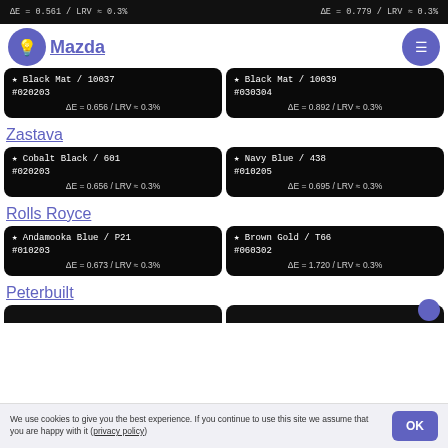ΔE = 0.561 / LRV ≈ 0.3%   |   ΔE = 0.779 / LRV ≈ 0.3%
Mazda
| Black Mat / 10037 | Black Mat / 10039 |
| --- | --- |
| #020203
ΔE = 0.656 / LRV ≈ 0.3% | #030304
ΔE = 0.892 / LRV ≈ 0.3% |
Zastava
| Cobalt Black / 601 | Navy Blue / 438 |
| --- | --- |
| #020203
ΔE = 0.656 / LRV ≈ 0.3% | #010205
ΔE = 0.695 / LRV ≈ 0.3% |
Rolls Royce
| Andamooka Blue / P21 | Brown Gold / T66 |
| --- | --- |
| #010203
ΔE = 0.673 / LRV ≈ 0.3% | #060302
ΔE = 1.720 / LRV ≈ 0.3% |
Peterbuilt
We use cookies to give you the best experience. If you continue to use this site we assume that you are happy with it (privacy policy)